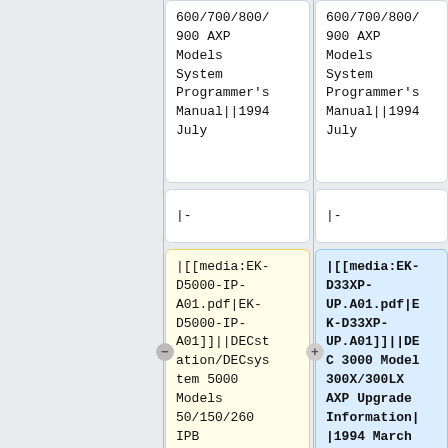600/700/800/
900 AXP
Models
System
Programmer's
Manual||1994
July
|-
|[[media:EK-D5000-IP-A01.pdf|EK-D5000-IP-A01]]||DECstation/DECsystem 5000 Models 50/150/260 IPB
600/700/800/
900 AXP
Models
System
Programmer's
Manual||1994
July
|-
|[[media:EK-D33XP-UP.A01.pdf|EK-D33XP-UP.A01]]||DEC 3000 Model 300X/300LX AXP Upgrade Information||1994 March
|-